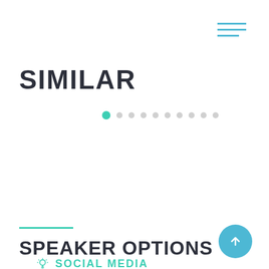[Figure (other): Hamburger menu icon with three horizontal teal lines, top-right corner]
SIMILAR
[Figure (infographic): Pagination dots row: one filled teal dot followed by nine smaller grey dots]
SPEAKER OPTIONS
SOCIAL MEDIA